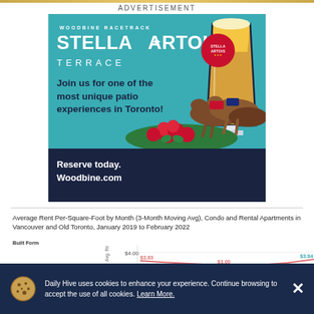ADVERTISEMENT
[Figure (illustration): Stella Artois Woodbine Racetrack Terrace advertisement. Teal/blue background with large text 'WOODBINE RACETRACK STELLA ARTOIS TERRACE', a beer glass illustration, Stella Artois circular logo, text 'Join us for one of the most unique patio experiences in Toronto!', illustrated horses racing with red roses, dark navy bottom with 'Reserve today. Woodbine.com'.]
[Figure (line-chart): Line chart showing average rent per square foot by month. Multiple lines visible. Values include $3.83, $3.00, $3.84, $3.66 annotated on chart.]
Daily Hive uses cookies to enhance your experience. Continue browsing to accept the use of all cookies. Learn More.